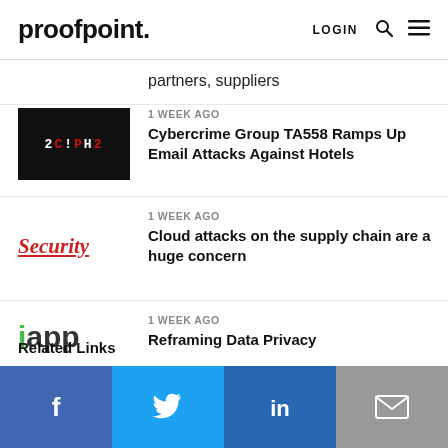proofpoint. LOGIN
partners, suppliers
1 WEEK AGO
Cybercrime Group TA558 Ramps Up Email Attacks Against Hotels
1 WEEK AGO
Cloud attacks on the supply chain are a huge concern
1 WEEK AGO
Reframing Data Privacy
Related Links
[Figure (other): Social share bar with Facebook, Twitter, LinkedIn, and Email buttons]